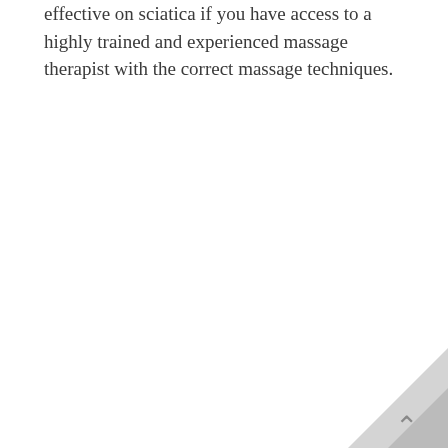effective on sciatica if you have access to a highly trained and experienced massage therapist with the correct massage techniques.